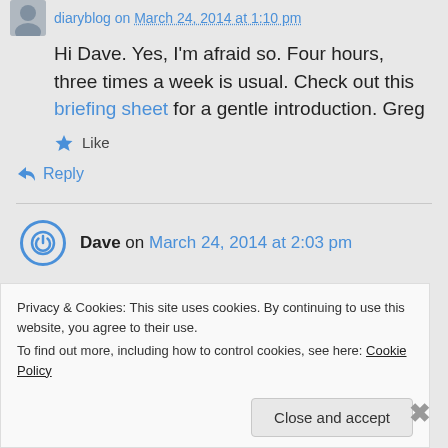[Figure (photo): Small avatar photo of a person (diaryblog author), top left corner]
Hi Dave. Yes, I'm afraid so. Four hours, three times a week is usual. Check out this briefing sheet for a gentle introduction. Greg
Like
Reply
Dave on March 24, 2014 at 2:03 pm
Privacy & Cookies: This site uses cookies. By continuing to use this website, you agree to their use.
To find out more, including how to control cookies, see here: Cookie Policy
Close and accept